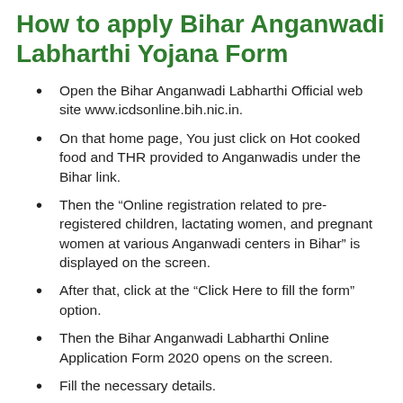How to apply Bihar Anganwadi Labharthi Yojana Form
Open the Bihar Anganwadi Labharthi Official web site www.icdsonline.bih.nic.in.
On that home page, You just click on Hot cooked food and THR provided to Anganwadis under the Bihar link.
Then the “Online registration related to pre-registered children, lactating women, and pregnant women at various Anganwadi centers in Bihar” is displayed on the screen.
After that, click at the “Click Here to fill the form” option.
Then the Bihar Anganwadi Labharthi Online Application Form 2020 opens on the screen.
Fill the necessary details.